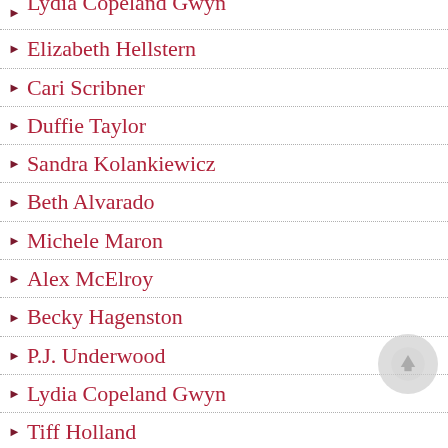▶ Lydia Copeland Gwyn (partial, top)
▶ Elizabeth Hellstern
▶ Cari Scribner
▶ Duffie Taylor
▶ Sandra Kolankiewicz
▶ Beth Alvarado
▶ Michele Maron
▶ Alex McElroy
▶ Becky Hagenston
▶ P.J. Underwood
▶ Lydia Copeland Gwyn
▶ Tiff Holland
▶ Ed Taylor